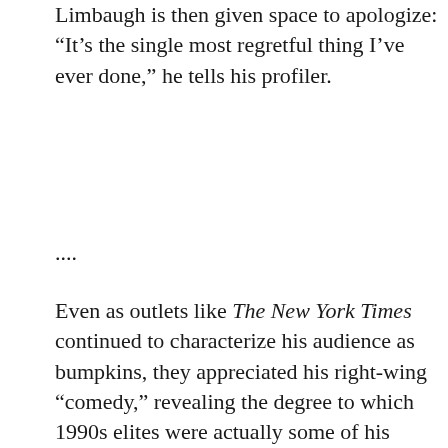Limbaugh is then given space to apologize: “It’s the single most regretful thing I’ve ever done,” he tells his profiler.
....
Even as outlets like The New York Times continued to characterize his audience as bumpkins, they appreciated his right-wing “comedy,” revealing the degree to which 1990s elites were actually some of his most eager fans. Limbaugh was a pioneer in the creation of the parallel conservative media, turning talk radio into a key arm of it. But television kept beckoning. By March of 1990, he had his first gig as a